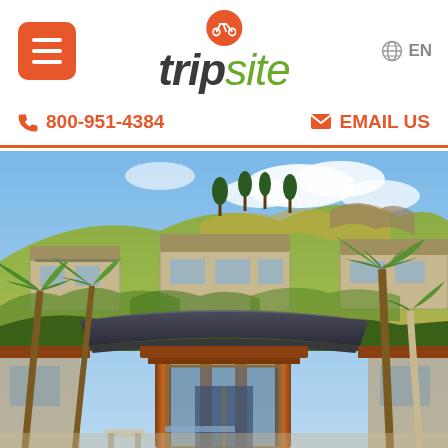[Figure (logo): Tripsite logo with bicycle icon on orange circle above the word tripsite in dark and green italic font]
800-951-4384
EMAIL US
[Figure (photo): Tropical resort photo showing a wooden pavilion in the foreground with palm trees and hillside luxury villas in the background under a blue sky with clouds]